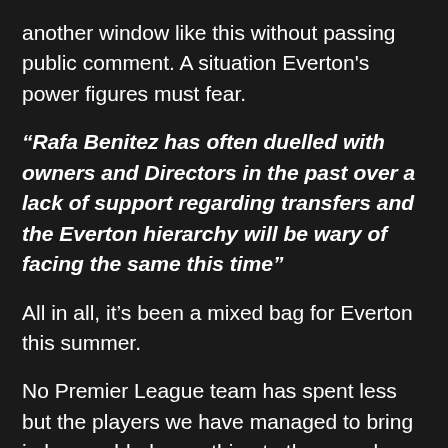another window like this without passing public comment. A situation Everton's power figures must fear.
“Rafa Benitez has often duelled with owners and Directors in the past over a lack of support regarding transfers and the Everton hierarchy will be wary of facing the same this time”
All in all, it’s been a mixed bag for Everton this summer.
No Premier League team has spent less but the players we have managed to bring in have added something to the squad.